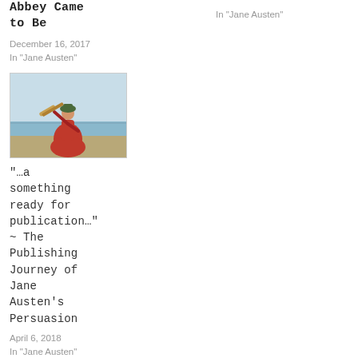Abbey Came to Be
December 16, 2017
In "Jane Austen"
In "Jane Austen"
[Figure (illustration): Woman in red dress looking through a telescope by the sea]
“…a something ready for publication…” ~ The Publishing Journey of Jane Austen’s Persuasion
April 6, 2018
In "Jane Austen"